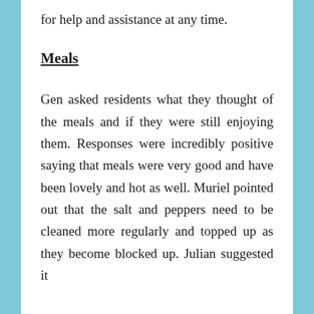for help and assistance at any time.
Meals
Gen asked residents what they thought of the meals and if they were still enjoying them. Responses were incredibly positive saying that meals were very good and have been lovely and hot as well. Muriel pointed out that the salt and peppers need to be cleaned more regularly and topped up as they become blocked up. Julian suggested it